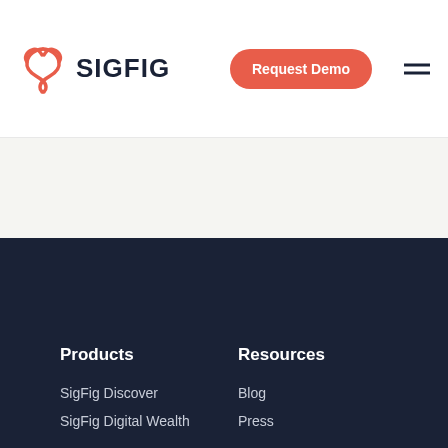SIGFIG
Request Demo
Products
Resources
SigFig Discover
SigFig Digital Wealth
Blog
Press